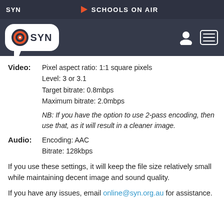[Figure (screenshot): SYN website navigation bar with SYN logo on the left and 'SCHOOLS ON AIR' with play button in the center, on a dark background. Logo bar below with SYN speech bubble logo and user/menu icons on the right.]
Video: Pixel aspect ratio: 1:1 square pixels
Level: 3 or 3.1
Target bitrate: 0.8mbps
Maximum bitrate: 2.0mbps
NB: If you have the option to use 2-pass encoding, then use that, as it will result in a cleaner image.
Audio: Encoding: AAC
Bitrate: 128kbps
If you use these settings, it will keep the file size relatively small while maintaining decent image and sound quality.
If you have any issues, email online@syn.org.au for assistance.